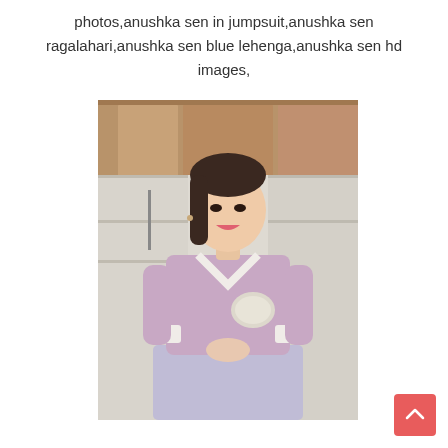photos,anushka sen in jumpsuit,anushka sen ragalahari,anushka sen blue lehenga,anushka sen hd images,
[Figure (photo): A young woman (Anushka Sen) wearing a traditional Korean hanbok outfit — a light purple/lavender top jacket with white collar and cuffs, gold embroidery, and a light blue/grey skirt. She is smiling, standing in front of stone steps and wooden architectural elements.]